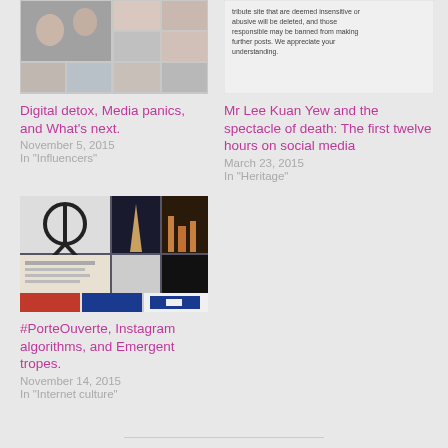[Figure (photo): Collage of social media photos, people selfies and group shots]
Digital detox, Media panics, and What's next.
November 5, 2015
In "Influencers"
[Figure (screenshot): Screenshot of text about tribute site content moderation policy]
Mr Lee Kuan Yew and the spectacle of death: The first twelve hours on social media
March 23, 2015
In "Heritage"
[Figure (photo): Collage of Paris images including Eiffel Tower, peace symbol, silhouette, and French flag related to #PorteOuverte]
#PorteOuverte, Instagram algorithms, and Emergent tropes.
November 14, 2015
In "Internet culture"